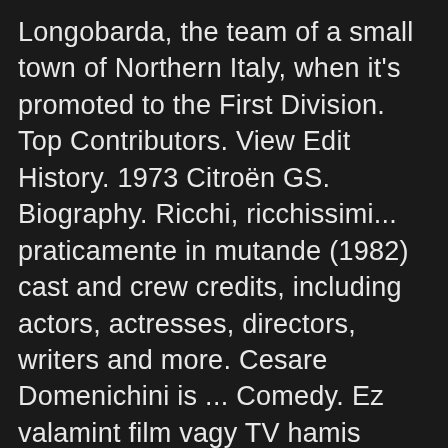Longobarda, the team of a small town of Northern Italy, when it's promoted to the First Division. Top Contributors. View Edit History. 1973 Citroën GS. Biography. Ricchi, ricchissimi... praticamente in mutande (1982) cast and crew credits, including actors, actresses, directors, writers and more. Cesare Domenichini is ... Comedy. Ez valamint film vagy TV hamis nagyon jó a múltban nem vannak újra kódolva . Ricchi ricchissimi praticamente in mutande solo pozzetto - Duration: 40:10. paperinyk 1,926 views. ciné ou jeu télévisé téléchargé via un site Web de assiette en ligne, comme iTunes. A factory worker known for his tough attitude and for fighting for workers' rights starts losing credibility when friends and co-